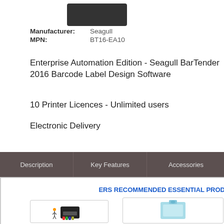[Figure (photo): Product image - dark/black hardware device (partially visible at top)]
Manufacturer: Seagull
MPN: BT16-EA10
Enterprise Automation Edition - Seagull BarTender 2016 Barcode Label Design Software
10 Printer Licences - Unlimited users
Electronic Delivery
Description | Key Features | Accessories | E...
ERS RECOMMENDED ESSENTIAL PROD...
[Figure (photo): Product thumbnail - printer device with figures]
[Figure (photo): Product thumbnail - light blue box/device]